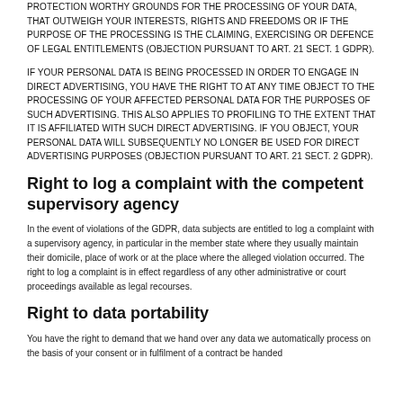PROTECTION WORTHY GROUNDS FOR THE PROCESSING OF YOUR DATA, THAT OUTWEIGH YOUR INTERESTS, RIGHTS AND FREEDOMS OR IF THE PURPOSE OF THE PROCESSING IS THE CLAIMING, EXERCISING OR DEFENCE OF LEGAL ENTITLEMENTS (OBJECTION PURSUANT TO ART. 21 SECT. 1 GDPR).
IF YOUR PERSONAL DATA IS BEING PROCESSED IN ORDER TO ENGAGE IN DIRECT ADVERTISING, YOU HAVE THE RIGHT TO AT ANY TIME OBJECT TO THE PROCESSING OF YOUR AFFECTED PERSONAL DATA FOR THE PURPOSES OF SUCH ADVERTISING. THIS ALSO APPLIES TO PROFILING TO THE EXTENT THAT IT IS AFFILIATED WITH SUCH DIRECT ADVERTISING. IF YOU OBJECT, YOUR PERSONAL DATA WILL SUBSEQUENTLY NO LONGER BE USED FOR DIRECT ADVERTISING PURPOSES (OBJECTION PURSUANT TO ART. 21 SECT. 2 GDPR).
Right to log a complaint with the competent supervisory agency
In the event of violations of the GDPR, data subjects are entitled to log a complaint with a supervisory agency, in particular in the member state where they usually maintain their domicile, place of work or at the place where the alleged violation occurred. The right to log a complaint is in effect regardless of any other administrative or court proceedings available as legal recourses.
Right to data portability
You have the right to demand that we hand over any data we automatically process on the basis of your consent or in fulfilment of a contract be handed